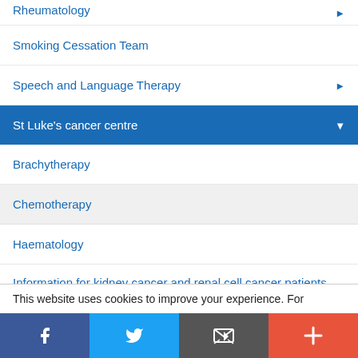Rheumatology
Smoking Cessation Team
Speech and Language Therapy
St Luke's cancer centre
Brachytherapy
Chemotherapy
Haematology
Information for kidney cancer and renal cell cancer patients
This website uses cookies to improve your experience. For